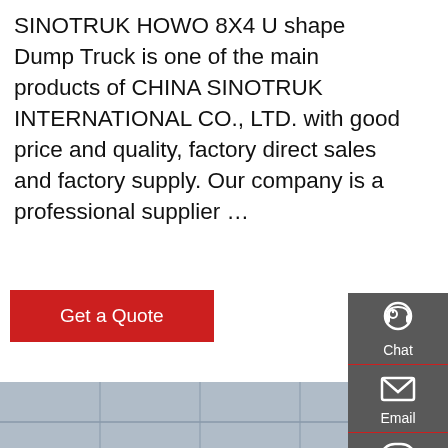SINOTRUK HOWO 8X4 U shape Dump Truck is one of the main products of CHINA SINOTRUK INTERNATIONAL CO., LTD. with good price and quality, factory direct sales and factory supply. Our company is a professional supplier …
Get a Quote
[Figure (photo): A teal/turquoise SINOTRUK HOWO 8x4 U-shape dump truck photographed from the rear-left angle, parked on a road in front of a modern glass-facade building. The truck has a large rectangular dump box with reflective chevron markings in yellow/red on the rear. Multiple axles and large tires are visible.]
Chat
Email
Contact
Top